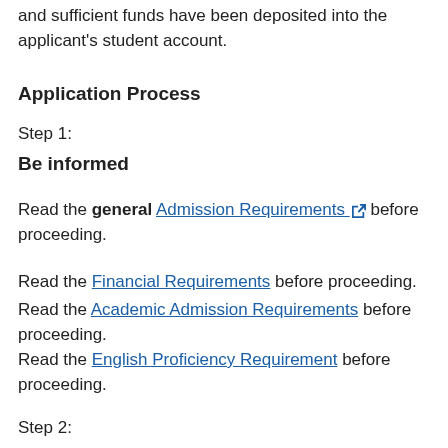and sufficient funds have been deposited into the applicant's student account.
Application Process
Step 1:
Be informed
Read the general Admission Requirements before proceeding.
Read the Financial Requirements before proceeding.
Read the Academic Admission Requirements before proceeding.
Read the English Proficiency Requirement before proceeding.
Step 2: